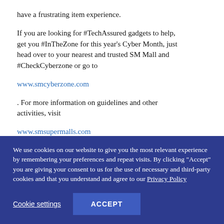have a frustrating item experience. If you are looking for #TechAssured gadgets to help, get you #InTheZone for this year's Cyber Month, just head over to your nearest and trusted SM Mall and #CheckCyberzone or go to www.smcyberzone.com . For more information on guidelines and other activities, visit www.smsupermalls.com or follow @smsupermalls on all social media
We use cookies on our website to give you the most relevant experience by remembering your preferences and repeat visits. By clicking "Accept" you are giving your consent to us for the use of necessary and third-party cookies and that you understand and agree to our Privacy Policy
Cookie settings
ACCEPT